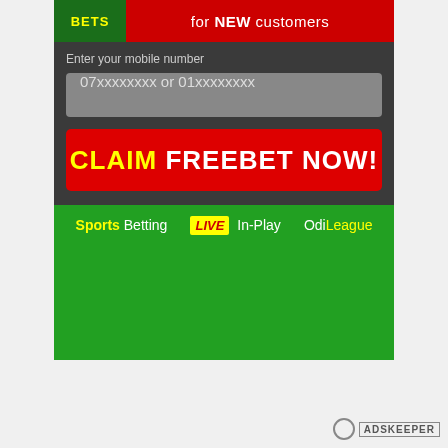[Figure (screenshot): Sports betting website screenshot showing a free bet promotional form. Top red banner with logo area reading 'BETS' in yellow on green background, and text 'for NEW customers' in white. Below is a dark grey section with label 'Enter your mobile number', an input field showing '07xxxxxxxx or 01xxxxxxxx', and a large red button labeled 'CLAIM FREEBET NOW!' in yellow and white. Below is a green navigation bar with links: 'Sports Betting', 'LIVE In-Play', 'OdiLeague'.]
Adskeeper